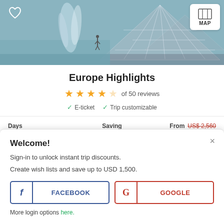[Figure (photo): Hero image of a fountain and building (Louvre pyramid) with a person standing nearby, heart icon overlay on top-left, MAP button on top-right]
Europe Highlights
★★★★☆ of 50 reviews
✓ E-ticket  ✓ Trip customizable
| Days | Saving | From / Price |
| --- | --- | --- |
| 10 | US$ 896 🔒 | From US$ 2,560 (strikethrough) US$ 1,664 |
Welcome!
Sign-in to unlock instant trip discounts.
Create wish lists and save up to USD 1,500.
f  FACEBOOK    G  GOOGLE
More login options here.